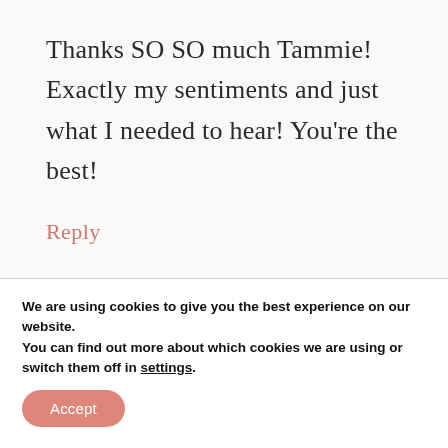Thanks SO SO much Tammie! Exactly my sentiments and just what I needed to hear! You're the best!
Reply
We are using cookies to give you the best experience on our website.
You can find out more about which cookies we are using or switch them off in settings.
Accept